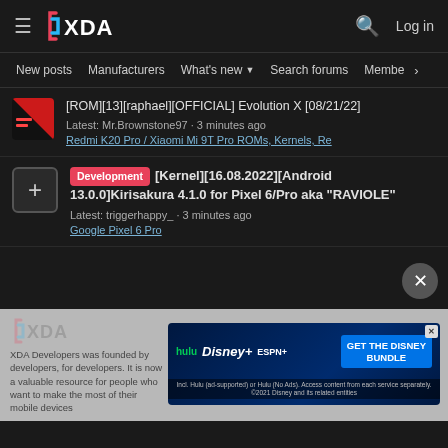XDA — New posts | Manufacturers | What's new | Search forums | Members
[ROM][13][raphael][OFFICIAL] Evolution X [08/21/22]
Latest: Mr.Brownstone97 · 3 minutes ago
Redmi K20 Pro / Xiaomi Mi 9T Pro ROMs, Kernels, Re
Development [Kernel][16.08.2022][Android 13.0.0]Kirisakura 4.1.0 for Pixel 6/Pro aka "RAVIOLE"
Latest: triggerhappy_ · 3 minutes ago
Google Pixel 6 Pro
[Figure (screenshot): Disney Bundle advertisement banner: Hulu, Disney+, ESPN+ logos with 'GET THE DISNEY BUNDLE' CTA button]
XDA Developers was founded by developers, for developers. It is now a valuable resource for people who want to make the most of their mobile devices